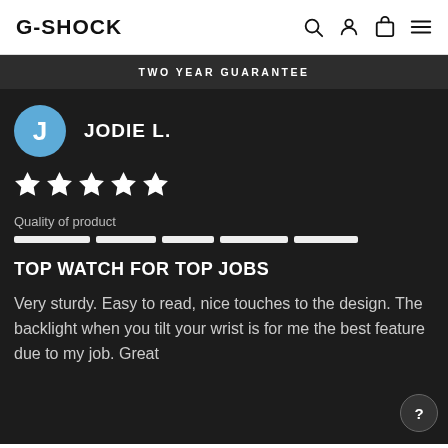G-SHOCK
TWO YEAR GUARANTEE
J  JODIE L.
[Figure (infographic): Five white stars rating (5 out of 5)]
Quality of product
[Figure (infographic): 5-segment quality bar, all segments filled white]
TOP WATCH FOR TOP JOBS
Very sturdy. Easy to read, nice touches to the design. The backlight when you tilt your wrist is for me the best feature due to my job. Great